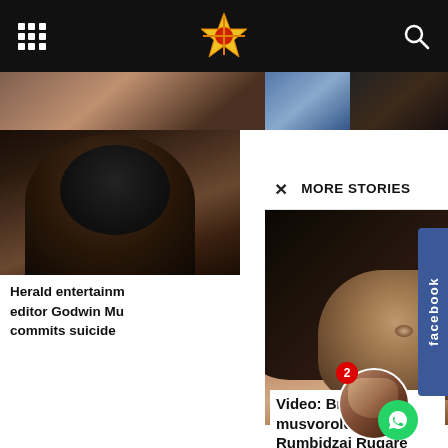MORE STORIES
[Figure (photo): Portrait photo of a man - Herald entertainment editor Godwin Mu]
Herald entertainm editor Godwin Mu commits suicide
[Figure (photo): Close-up photo of a woman with dark straight hair covering part of face]
Video: Brothel musvorologist Rumbidzai Rugare
musvo - August 18, 2022